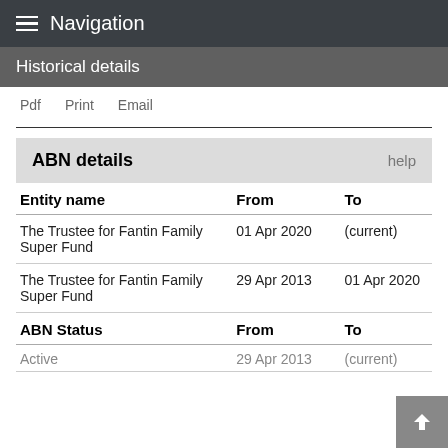Navigation
Historical details
Pdf   Print   Email
| Entity name | From | To |
| --- | --- | --- |
| The Trustee for Fantin Family Super Fund | 01 Apr 2020 | (current) |
| The Trustee for Fantin Family Super Fund | 29 Apr 2013 | 01 Apr 2020 |
| ABN Status | From | To |
| --- | --- | --- |
| Active | 29 Apr 2013 | (current) |